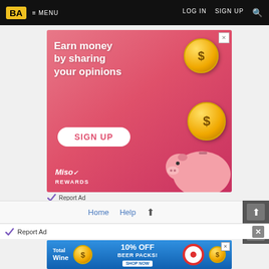BA  ≡ MENU   LOG IN   SIGN UP  🔍
[Figure (illustration): Advertisement banner with pink gradient background. Text reads 'Earn money by sharing your opinions'. Shows gold coins with dollar signs, a piggy bank illustration, a white rounded 'SIGN UP' button in pink text, and 'Miso Rewards' logo in bottom left.]
Report Ad
Home   Help   ↑
Report Ad
[Figure (illustration): Advertisement banner for Total Wine with blue water background. Shows '10% OFF BEER PACKS!' text and circular badge graphics.]